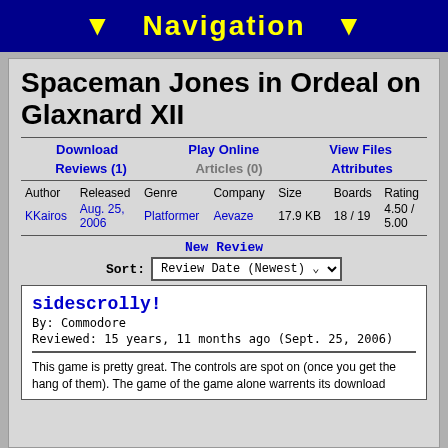▼ Navigation ▼
Spaceman Jones in Ordeal on Glaxnard XII
Download | Play Online | View Files
Reviews (1) | Articles (0) | Attributes
| Author | Released | Genre | Company | Size | Boards | Rating |
| --- | --- | --- | --- | --- | --- | --- |
| KKairos | Aug. 25, 2006 | Platformer | Aevaze | 17.9 KB | 18 / 19 | 4.50 / 5.00 |
New Review
Sort: Review Date (Newest)
sidescrolly!
By: Commodore
Reviewed: 15 years, 11 months ago (Sept. 25, 2006)
This game is pretty great. The controls are spot on (once you get the hang of them). The game of the game alone warrents its download